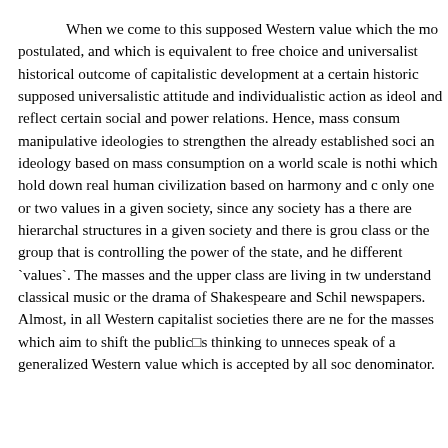When we come to this supposed Western value which the mo postulated, and which is equivalent to free choice and universalist historical outcome of capitalistic development at a certain historic supposed universalistic attitude and individualistic action as ideol and reflect certain social and power relations. Hence, mass consum manipulative ideologies to strengthen the already established soci an ideology based on mass consumption on a world scale is nothi which hold down real human civilization based on harmony and c only one or two values in a given society, since any society has a there are hierarchal structures in a given society and there is grou class or the group that is controlling the power of the state, and he different `values`. The masses and the upper class are living in tw understand classical music or the drama of Shakespeare and Schil newspapers. Almost, in all Western capitalist societies there are ne for the masses which aim to shift the public□s thinking to unneces speak of a generalized Western value which is accepted by all soc denominator.